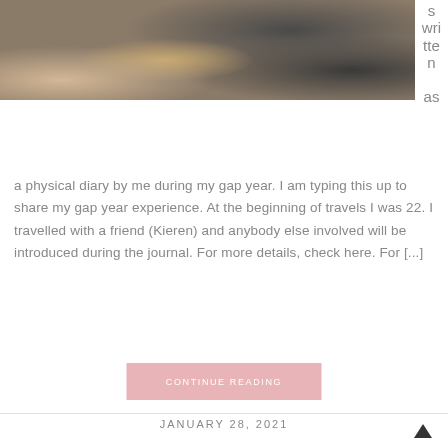[Figure (photo): Outdoor travel photo showing people hiking, one holding a water bottle, with backpacks visible, sandy ground, cropped at top of page]
s written as a physical diary by me during my gap year. I am typing this up to share my gap year experience. At the beginning of travels I was 22. I travelled with a friend (Kieren) and anybody else involved will be introduced during the journal. For more details, check here. For [...]
CONTINUE READING
JANUARY 28, 2021